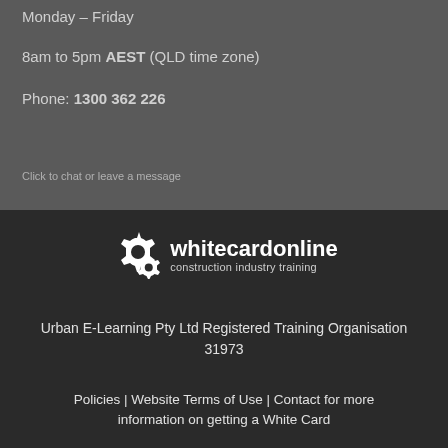Monday – Friday
8am to 5pm AEST (QLD time zone)
Phone: 1300 362 226
Click to chat or leave a message
[Figure (logo): whitecardonline construction industry training logo with gear icons]
Urban E-Learning Pty Ltd Registered Training Organisation 31973
Policies | Website Terms of Use | Contact for more information on getting a White Card